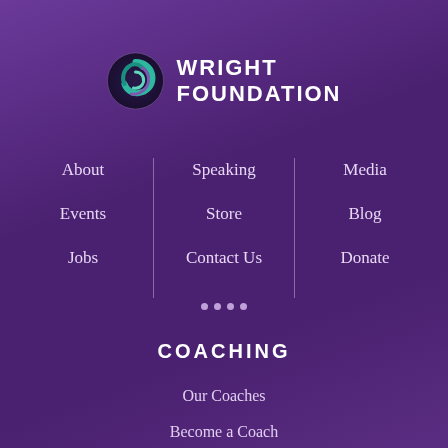[Figure (logo): Wright Foundation logo: circular swirl icon in teal and green on dark background, with text WRIGHT FOUNDATION in white bold capitals]
About
Events
Jobs
Speaking
Store
Contact Us
Media
Blog
Donate
COACHING
Our Coaches
Become a Coach
Coaching: Overview
Life Coaching
Relationship Coaching
Career Coaching